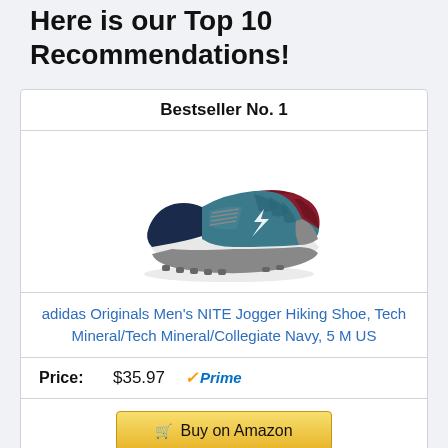Here is our Top 10 Recommendations!
Bestseller No. 1
[Figure (photo): adidas Originals Men's NITE Jogger sneaker in teal/blue with dark red accents and white sole]
adidas Originals Men's NITE Jogger Hiking Shoe, Tech Mineral/Tech Mineral/Collegiate Navy, 5 M US
Price: $35.97 Prime
Buy on Amazon